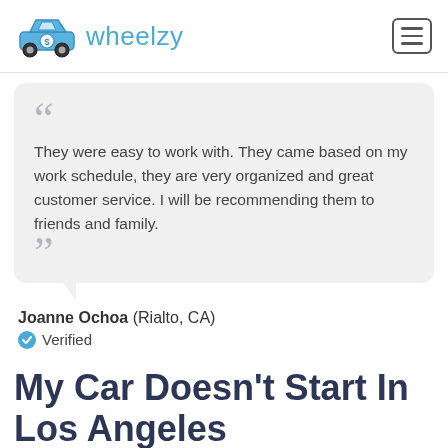wheelzy
They were easy to work with. They came based on my work schedule, they are very organized and great customer service. I will be recommending them to friends and family.
Joanne Ochoa (Rialto, CA) Verified
My Car Doesn't Start In Los Angeles